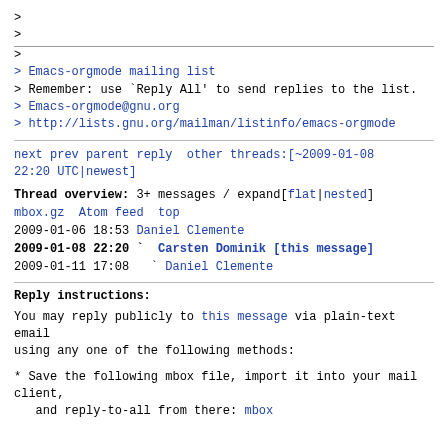>
>
>
> Emacs-orgmode mailing list
> Remember: use `Reply All' to send replies to the list.
> Emacs-orgmode@gnu.org
> http://lists.gnu.org/mailman/listinfo/emacs-orgmode
next prev parent reply  other threads:[~2009-01-08 22:20 UTC|newest]
Thread overview: 3+ messages / expand[flat|nested]
mbox.gz  Atom feed  top
2009-01-06 18:53 Daniel Clemente
2009-01-08 22:20 ` Carsten Dominik [this message]
2009-01-11 17:08   ` Daniel Clemente
Reply instructions:
You may reply publicly to this message via plain-text email
using any one of the following methods:
* Save the following mbox file, import it into your mail client,
  and reply-to-all from there: mbox